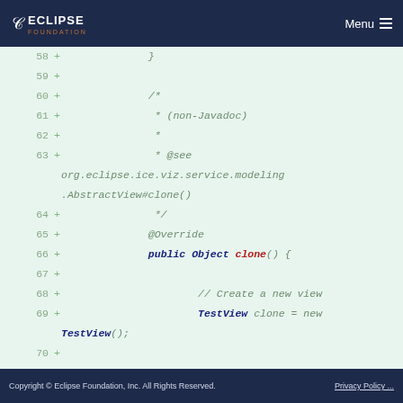ECLIPSE FOUNDATION — Menu
[Figure (screenshot): Code diff view showing Java source code lines 58-72 with added lines (green background). Lines include a closing brace, Javadoc comment with @see annotation referencing org.eclipse.ice.viz.service.modeling.AbstractView#clone(), @Override annotation, public Object clone() method declaration, comment '// Create a new view', TestView clone = new TestView(); assignment, empty line, comment '// Copy this object's data into the clone and return it', and clone.copy(this); call.]
Copyright © Eclipse Foundation, Inc. All Rights Reserved.    Privacy Policy ...